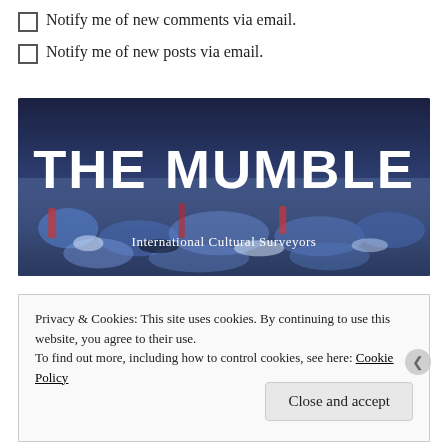Notify me of new comments via email.
Notify me of new posts via email.
[Figure (photo): Banner image showing a large crowd of performers in costume at what appears to be a stadium event, with text 'THE MUMBLE' in large white bold letters and subtitle 'International Cultural Surveyors' below.]
Privacy & Cookies: This site uses cookies. By continuing to use this website, you agree to their use.
To find out more, including how to control cookies, see here: Cookie Policy
Close and accept